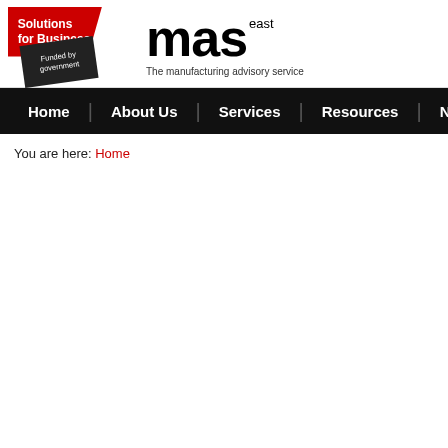[Figure (logo): Solutions for Business badge with red polygon shape and dark tag shape reading 'Funded by government', alongside MAS east logo with tagline 'The manufacturing advisory service']
Home | About Us | Services | Resources | N
You are here: Home